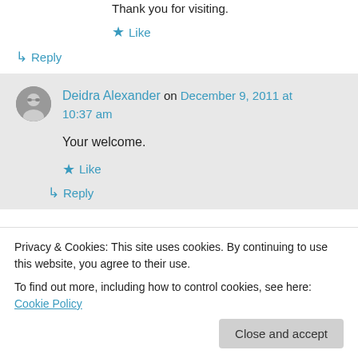Thank you for visiting.
★ Like
↳ Reply
Deidra Alexander on December 9, 2011 at 10:37 am
Your welcome.
★ Like
↳ Reply
Privacy & Cookies: This site uses cookies. By continuing to use this website, you agree to their use. To find out more, including how to control cookies, see here: Cookie Policy
Close and accept
you write with confidence! Excellent!